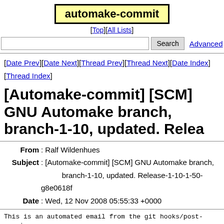automake-commit
[Top][All Lists]
[Date Prev][Date Next][Thread Prev][Thread Next][Date Index][Thread Index]
[Automake-commit] [SCM] GNU Automake branch, branch-1-10, updated. Relea
From: Ralf Wildenhues
Subject: [Automake-commit] [SCM] GNU Automake branch, branch-1-10, updated. Release-1-10-1-50-g8e0618f
Date: Wed, 12 Nov 2008 05:55:33 +0000
This is an automated email from the git hooks/post-receive generated because a ref change was pushed to the repository of the project "GNU Automake".
http://git.sv.gnu.org/gitweb/?p=automake.git;a=commitdif